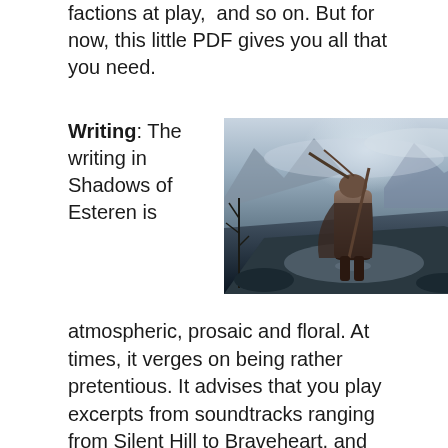factions at play,  and so on. But for now, this little PDF gives you all that you need.
Writing: The writing in Shadows of Esteren is atmospheric, prosaic and floral. At times, it verges on being rather pretentious. It advises that you play excerpts from soundtracks ranging from Silent Hill to Braveheart, and leaves you in no doubt that the developers want to put across just how dramatic and horrific an experience that you can
[Figure (illustration): Fantasy illustration of a warrior figure walking through a snowy mountain landscape with bare trees and dramatic misty sky]